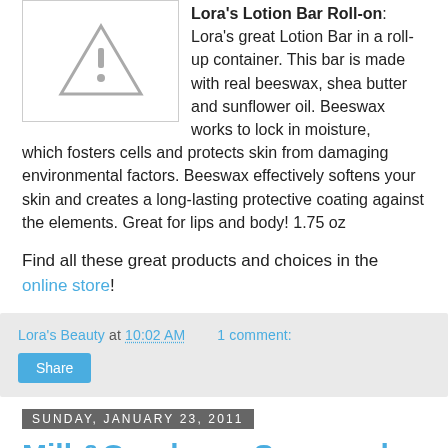[Figure (photo): Placeholder product image with a grey triangle/diamond warning icon]
Lora's Lotion Bar Roll-on: Lora's great Lotion Bar in a roll-up container. This bar is made with real beeswax, shea butter and sunflower oil. Beeswax works to lock in moisture, which fosters cells and protects skin from damaging environmental factors. Beeswax effectively softens your skin and creates a long-lasting protective coating against the elements. Great for lips and body! 1.75 oz
Find all these great products and choices in the online store!
Lora's Beauty at 10:02 AM   1 comment:
Share
Sunday, January 23, 2011
Milk&Cranberry Soap and Heart Shaped
[Figure (photo): Bottom partial product photo, warm yellowish tones]